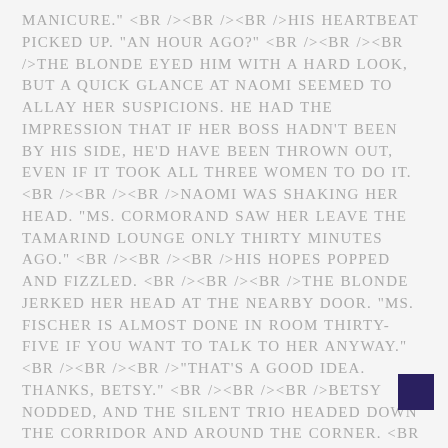MANICURE." <BR /><BR /><BR />His heartbeat picked up. "An hour ago?" <BR /><BR /><BR />The blonde eyed him with a hard look, but a quick glance at Naomi seemed to allay her suspicions. He had the impression that if her boss hadn't been by his side, he'd have been thrown out, even if it took all three women to do it. <BR /><BR /><BR />Naomi was shaking her head. "Ms. Cormorand saw her leave the Tamarind lounge only thirty minutes ago." <BR /><BR /><BR />His hopes popped and fizzled. <BR /><BR /><BR />The blonde jerked her head at the nearby door. "Ms. Fischer is almost done in room thirty-five if you want to talk to her anyway." <BR /><BR /><BR />"That's a good idea. Thanks, Betsy." <BR /><BR /><BR />Betsy nodded, and the silent trio headed down the corridor and around the corner. <BR /><BR /><BR />Copyright © 2009 by Camy Tang<BR /><BR />Permission to reproduce text granted by Harlequin Books S.A<BR /></DIV><BR />